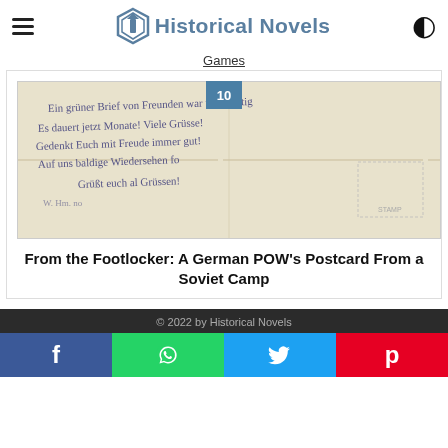Historical Novels
Games
[Figure (photo): A handwritten German postcard or letter with cursive script, aged paper with fold marks, labeled with number 10 badge]
From the Footlocker: A German POW's Postcard From a Soviet Camp
© 2022 by Historical Novels
f  (WhatsApp icon)  (Twitter icon)  p